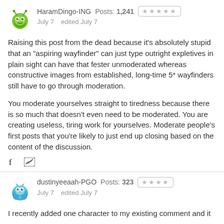[Figure (illustration): Green bug/monster avatar for HaramDingo-ING]
HaramDingo-ING  Posts: 1,241  ★★★★★
July 7   edited July 7
Raising this post from the dead because it's absolutely stupid that an "aspiring wayfinder" can just type outright expletives in plain sight can have that fester unmoderated whereas constructive images from established, long-time 5* wayfinders still have to go through moderation.
You moderate yourselves straight to tiredness because there is so much that doesn't even need to be moderated. You are creating useless, tiring work for yourselves. Moderate people's first posts that you're likely to just end up closing based on the content of the discussion.
[Figure (illustration): Blue owl/monster avatar for dustinyeeaah-PGO]
dustinyeeaah-PGO  Posts: 323  ★★★★
July 7   edited July 7
I recently added one character to my existing comment and it